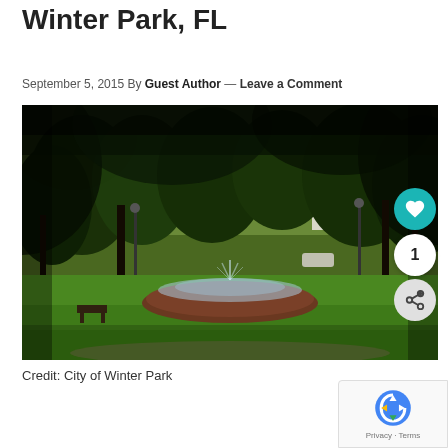Winter Park, FL
September 5, 2015 By Guest Author — Leave a Comment
[Figure (photo): Outdoor park scene in Winter Park, FL showing green lawns, large trees, a circular brick fountain in the center, pathways, and buildings visible in the background. Bright midday light with strong tree canopy shade.]
Credit: City of Winter Park